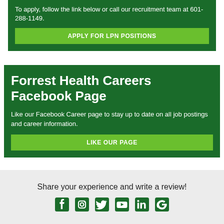To apply, follow the link below or call our recruitment team at 601-288-1149.
APPLY FOR LPN POSITIONS
Forrest Health Careers Facebook Page
Like our Facebook Career page to stay up to date on all job postings and career information.
LIKE OUR PAGE
Share your experience and write a review!